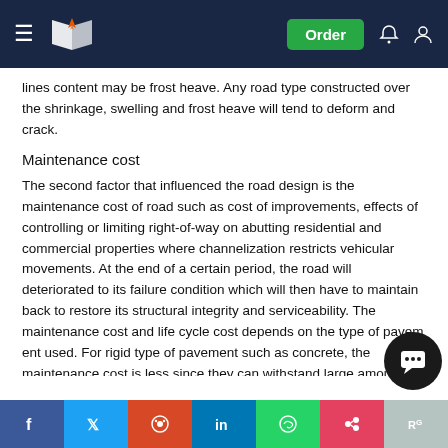Navigation bar with logo, Order button, notification and account icons
lines content may be frost heave. Any road type constructed over the shrinkage, swelling and frost heave will tend to deform and crack.
Maintenance cost
The second factor that influenced the road design is the maintenance cost of road such as cost of improvements, effects of controlling or limiting right-of-way on abutting residential and commercial properties where channelization restricts vehicular movements. At the end of a certain period, the road will deteriorated to its failure condition which will then have to maintain back to restore its structural integrity and serviceability. The maintenance cost and life cycle cost depends on the type of pavement used. For rigid type of pavement such as concrete, the maintenance cost is less since they can withstand large amounts of loads while for flexible type of pavement such
Share buttons: Facebook, Twitter, Reddit, LinkedIn, WhatsApp, Mix, ResearchGate